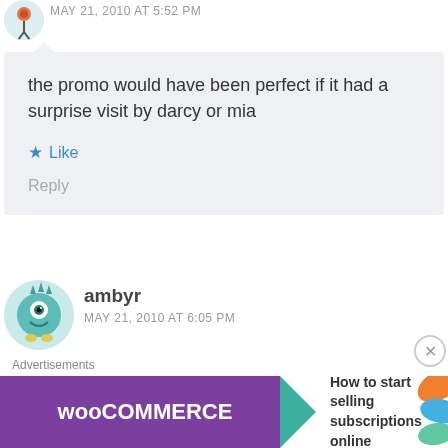MAY 21, 2010 AT 5:52 PM
the promo would have been perfect if it had a surprise visit by darcy or mia
Like
Reply
ambyr
MAY 21, 2010 AT 6:05 PM
Dave definitly likes alli(:
Advertisements
[Figure (illustration): WooCommerce advertisement banner: purple background with WooCommerce logo and arrow, text 'How to start selling subscriptions online', orange leaf decoration on right]